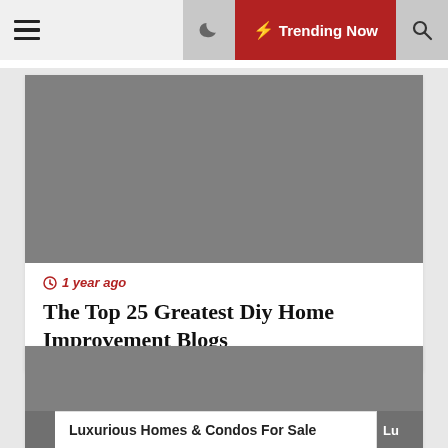Trending Now
[Figure (photo): Gray placeholder image for DIY home improvement blog article]
1 year ago
The Top 25 Greatest Diy Home Improvement Blogs
[Figure (photo): Gray placeholder image for Luxurious Homes & Condos For Sale article]
Luxurious Homes & Condos For Sale